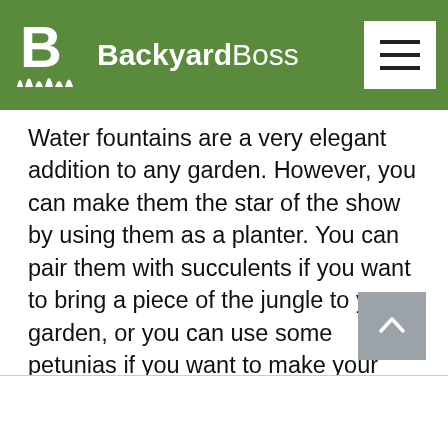BackyardBoss
Water fountains are a very elegant addition to any garden. However, you can make them the star of the show by using them as a planter. You can pair them with succulents if you want to bring a piece of the jungle to your garden, or you can use some petunias if you want to make your garden a flower wonderland. Since it is not a great idea to drill holes into the water fountain for drainage, you should have a layer of pebbles to avoid over-watering. Unfortunately, this idea is only good for outdoor or balcony use.